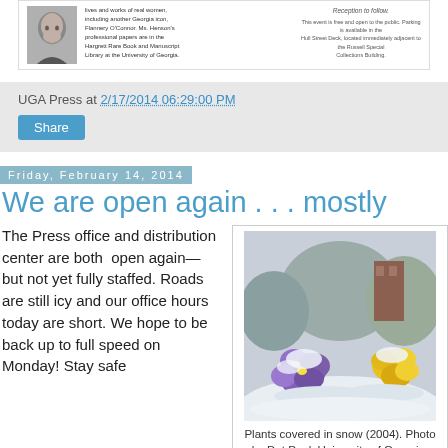[Figure (photo): Black and white portrait photo of a woman, with small text about Georgia author, Flannery O'Connor. Text mentions professional papers at Hargrett Rare Book and Manuscripts Library at the University of Georgia. Right side mentions reception to follow and event details.]
UGA Press at 2/17/2014 06:29:00 PM
Share
Friday, February 14, 2014
We are open again . . . mostly
The Press office and distribution center are both  open again—but not yet fully staffed. Roads are still icy and our office hours today are short. We hope to be back up to full speed on Monday! Stay safe
[Figure (photo): Photo of purple and yellow flowers (pansies) covered in snow, taken in 2004. Photo by Dot Paul, University of Georgia.]
Plants covered in snow (2004). Photo by Dot Paul, University of Georgia.